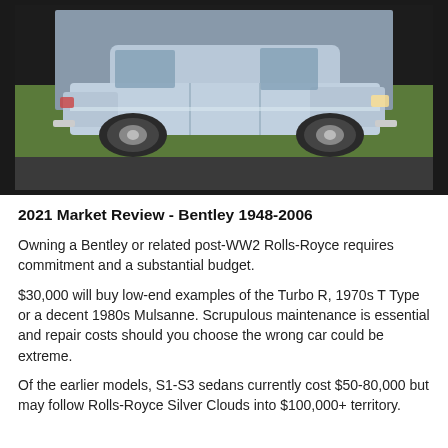[Figure (photo): A light blue/silver Bentley or Rolls-Royce sedan photographed from the side, parked on a road with green trees/grass in the background. The car is on a dark background surround.]
2021 Market Review - Bentley 1948-2006
Owning a Bentley or related post-WW2 Rolls-Royce requires commitment and a substantial budget.
$30,000 will buy low-end examples of the Turbo R, 1970s T Type or a decent 1980s Mulsanne. Scrupulous maintenance is essential and repair costs should you choose the wrong car could be extreme.
Of the earlier models, S1-S3 sedans currently cost $50-80,000 but may follow Rolls-Royce Silver Clouds into $100,000+ territory.